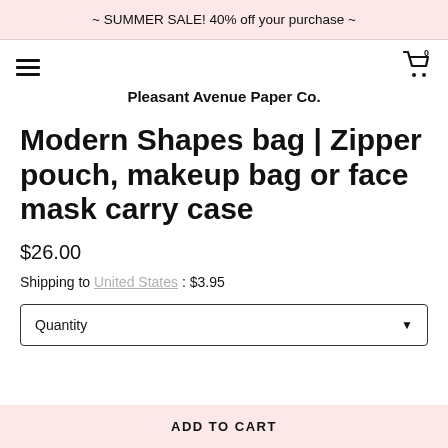~ SUMMER SALE! 40% off your purchase ~
Pleasant Avenue Paper Co.
Modern Shapes bag | Zipper pouch, makeup bag or face mask carry case
$26.00
Shipping to United States: $3.95
Quantity
ADD TO CART